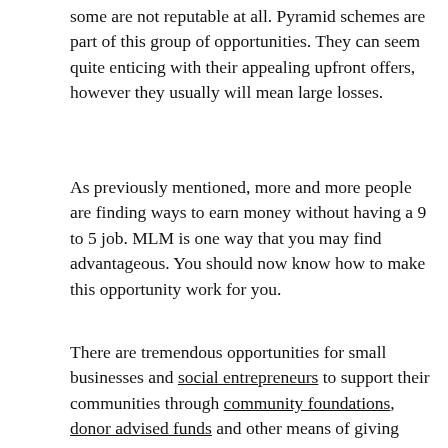some are not reputable at all. Pyramid schemes are part of this group of opportunities. They can seem quite enticing with their appealing upfront offers, however they usually will mean large losses.
As previously mentioned, more and more people are finding ways to earn money without having a 9 to 5 job. MLM is one way that you may find advantageous. You should now know how to make this opportunity work for you.
There are tremendous opportunities for small businesses and social entrepreneurs to support their communities through community foundations, donor advised funds and other means of giving back. Find the neighborhoods in Erie, Pennsylvania where you can make the most impact on children in the community.